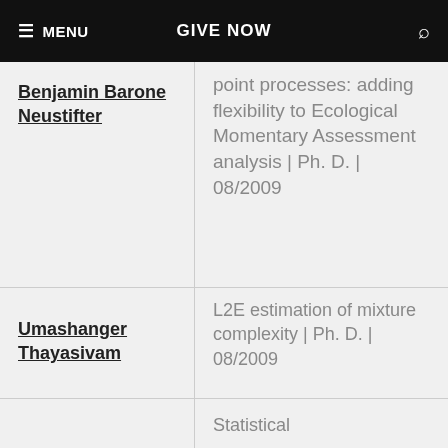MENU | GIVE NOW | Search
Benjamin Barone Neustifter
point processes: adding flexibility to Ecological Momentary Assessment analysis | Ph. D. | 08/2009
Umashanger Thayasivam
L2E estimation of mixture complexity | Ph. D. | 08/2009
Statistical